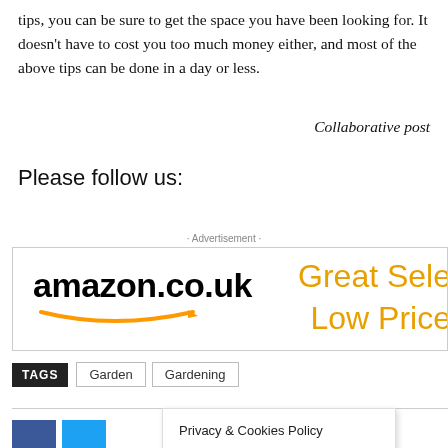tips, you can be sure to get the space you have been looking for. It doesn't have to cost you too much money either, and most of the above tips can be done in a day or less.
Collaborative post
Please follow us:
- Advertisement -
[Figure (other): Amazon.co.uk advertisement banner with text 'Great Selection Low Prices']
TAGS  Garden  Gardening
Privacy & Cookies Policy